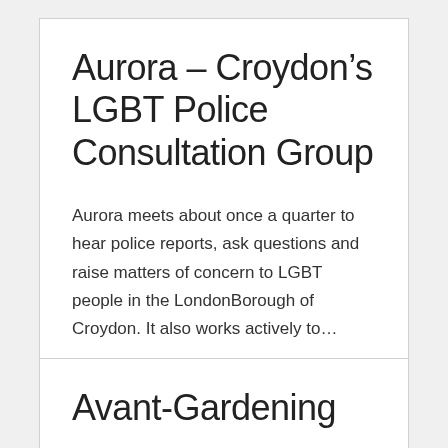Aurora – Croydon's LGBT Police Consultation Group
Aurora meets about once a quarter to hear police reports, ask questions and raise matters of concern to LGBT people in the LondonBorough of Croydon. It also works actively to…
Avant-Gardening